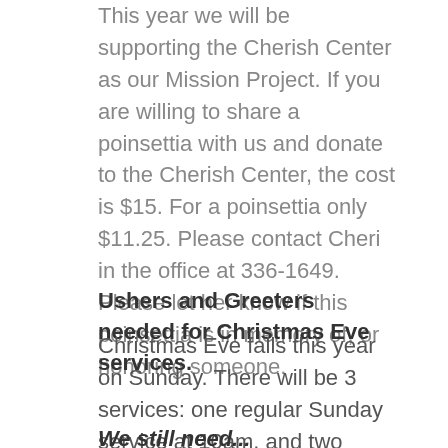This year we will be supporting the Cherish Center as our Mission Project. If you are willing to share a poinsettia with us and donate to the Cherish Center, the cost is $15. For a poinsettia only $11.25. Please contact Cheri in the office at 336-1649. Please let her know if this poinsettia is in memory of, or honoring someone.
Ushers and Greeters needed for Christmas Eve services.
Christmas Eve falls this year on Sunday. There will be 3 services: one regular Sunday service at 10am, and two Christmas Eve services at 4 and 6 pm.
We still need...